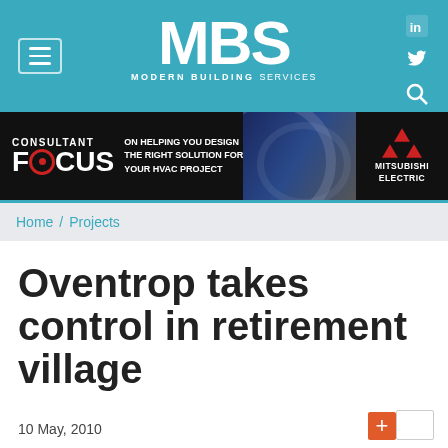MBS MODERN BUILDING SERVICES
[Figure (screenshot): Mitsubishi Electric Consultant Focus advertisement banner - dark background with gear/HVAC imagery and Mitsubishi Electric logo]
Home / Projects
Oventrop takes control in retirement village
10 May, 2010